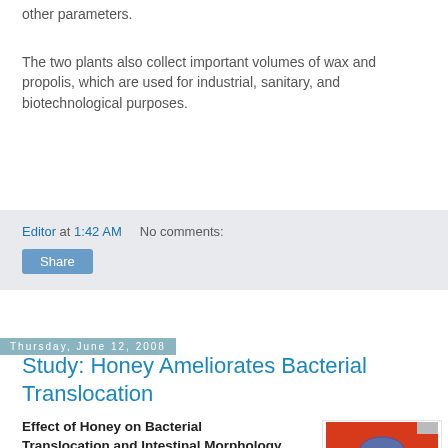other parameters.
The two plants also collect important volumes of wax and propolis, which are used for industrial, sanitary, and biotechnological purposes.
Editor at 1:42 AM   No comments:
Share
Thursday, June 12, 2008
Study: Honey Ameliorates Bacterial Translocation
Effect of Honey on Bacterial Translocation and Intestinal Morphology in Obstructive Jaundice World J Gastroenterol, 2008 June;14(21):3410-3415
[Figure (photo): Cover of World Journal of Gastroenterology (WJG) - red cover with blue oval logo and white WJG text]